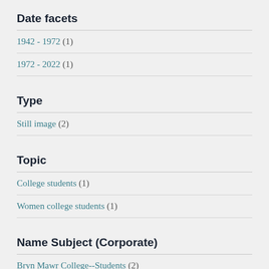Date facets
1942 - 1972 (1)
1972 - 2022 (1)
Type
Still image (2)
Topic
College students (1)
Women college students (1)
Name Subject (Corporate)
Bryn Mawr College--Students (2)